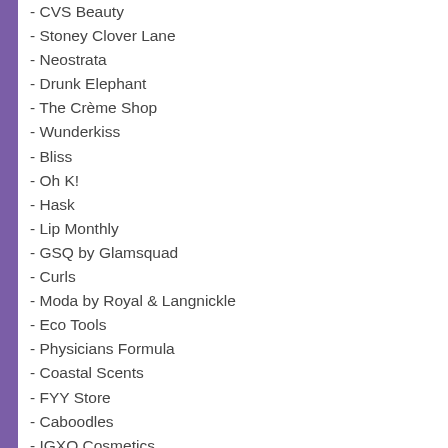- CVS Beauty
- Stoney Clover Lane
- Neostrata
- Drunk Elephant
- The Crème Shop
- Wunderkiss
- Bliss
- Oh K!
- Hask
- Lip Monthly
- GSQ by Glamsquad
- Curls
- Moda by Royal & Langnickle
- Eco Tools
- Physicians Formula
- Coastal Scents
- FYY Store
- Caboodles
- IGXO Cosmetics
- Target
- Ulta
- China Glaze
- Pacifica Beauty
- Pixi by Petra
- Essie
- Bare Republic
- Garnier SkinActive
- Welly First Aid
- Friska